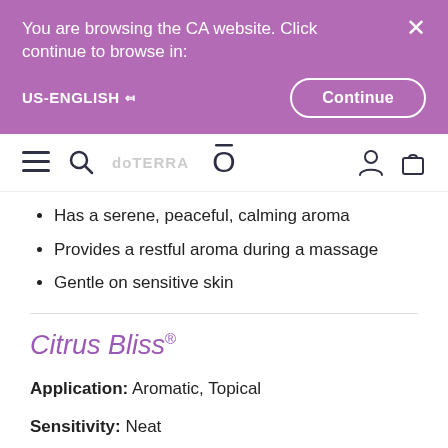You are browsing the CA website. Click continue to browse in:
US-ENGLISH
Continue
[Figure (screenshot): Website navigation bar with hamburger menu, search icon, brand logo (Ō), user icon, and shopping bag icon]
Has a serene, peaceful, calming aroma
Provides a restful aroma during a massage
Gentle on sensitive skin
Citrus Bliss®
Application: Aromatic, Topical
Sensitivity: Neat